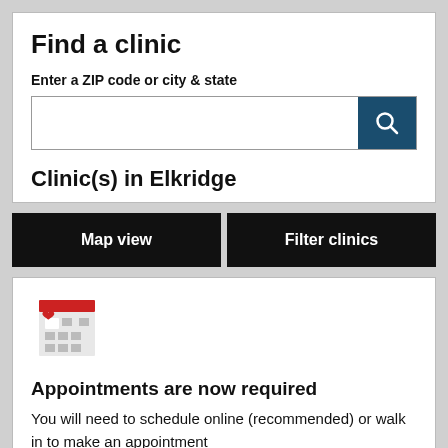Find a clinic
Enter a ZIP code or city & state
Clinic(s) in Elkridge
Map view
Filter clinics
[Figure (illustration): Calendar icon with a red heart in the center, red bar at top, grey grid squares below]
Appointments are now required
You will need to schedule online (recommended) or walk in to make an appointment